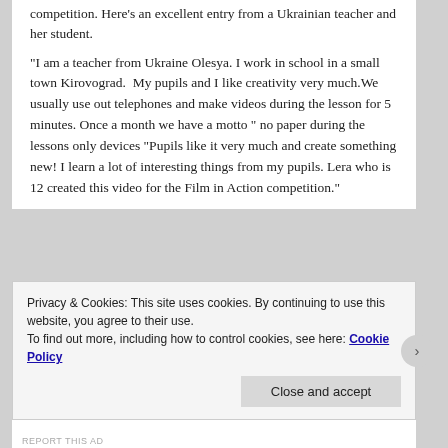competition. Here's an excellent entry from a Ukrainian teacher and her student.
“I am a teacher from Ukraine Olesya. I work in school in a small town Kirovograd.  My pupils and I like creativity very much.We usually use out telephones and make videos during the lesson for 5 minutes. Once a month we have a motto “ no paper during the lessons only devices “Pupils like it very much and create something new! I learn a lot of interesting things from my pupils. Lera who is 12 created this video for the Film in Action competition.”
[Figure (screenshot): Video thumbnail — black background with a pink/red circular icon visible on the left side]
Privacy & Cookies: This site uses cookies. By continuing to use this website, you agree to their use.
To find out more, including how to control cookies, see here: Cookie Policy